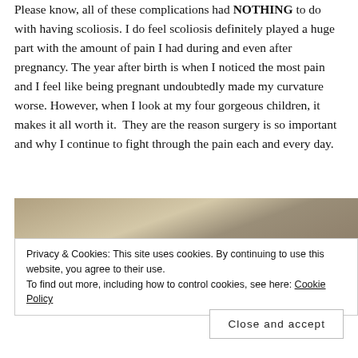Please know, all of these complications had NOTHING to do with having scoliosis. I do feel scoliosis definitely played a huge part with the amount of pain I had during and even after pregnancy. The year after birth is when I noticed the most pain and I feel like being pregnant undoubtedly made my curvature worse. However, when I look at my four gorgeous children, it makes it all worth it. They are the reason surgery is so important and why I continue to fight through the pain each and every day.
[Figure (photo): Partial photo of what appears to be a ceiling or interior room, with beige/tan tones visible at the top of the page.]
Privacy & Cookies: This site uses cookies. By continuing to use this website, you agree to their use.
To find out more, including how to control cookies, see here: Cookie Policy